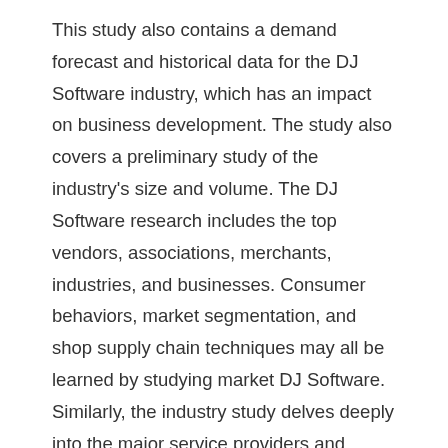This study also contains a demand forecast and historical data for the DJ Software industry, which has an impact on business development. The study also covers a preliminary study of the industry's size and volume. The DJ Software research includes the top vendors, associations, merchants, industries, and businesses. Consumer behaviors, market segmentation, and shop supply chain techniques may all be learned by studying market DJ Software. Similarly, the industry study delves deeply into the major service providers and provides a thorough picture of the overall competitiveness of the firm.
We Have Recent Updates of DJ Software Market In Search Your Ques...